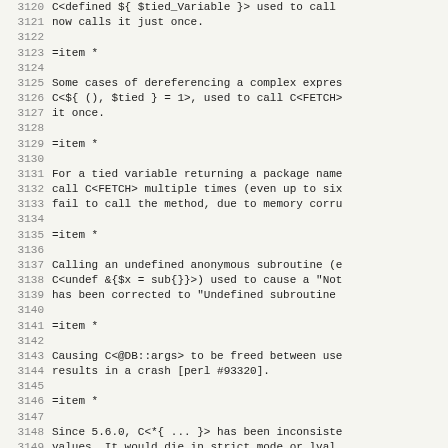3120 C<defined ${ $tied_Variable }> used to call
3121 now calls it just once.
3122
3123 =item *
3124
3125 Some cases of dereferencing a complex expres
3126 C<${ (), $tied } = 1>, used to call C<FETCH>
3127 it once.
3128
3129 =item *
3130
3131 For a tied variable returning a package name
3132 call C<FETCH> multiple times (even up to six
3133 fail to call the method, due to memory corru
3134
3135 =item *
3136
3137 Calling an undefined anonymous subroutine (e
3138 C<undef &{$x = sub{}}>) used to cause a "Not
3139 has been corrected to "Undefined subroutine
3140
3141 =item *
3142
3143 Causing C<@DB::args> to be freed between use
3144 results in a crash [perl #93320].
3145
3146 =item *
3147
3148 Since 5.6.0, C<*{ ... }> has been inconsiste
3149 values.  It would die in strict mode or lval
3150 values, but would be treated as the empty st
3151 specific scalar return by C<undef()> (C<&PL_
3152